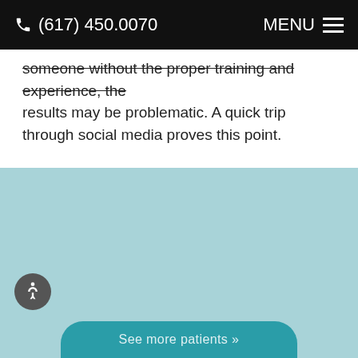(617) 450.0070  MENU
someone without the proper training and experience, the results may be problematic. A quick trip through social media proves this point.
[Figure (other): Light blue/teal colored section, likely a before/after patient photo area with a teal background placeholder]
See more patients »